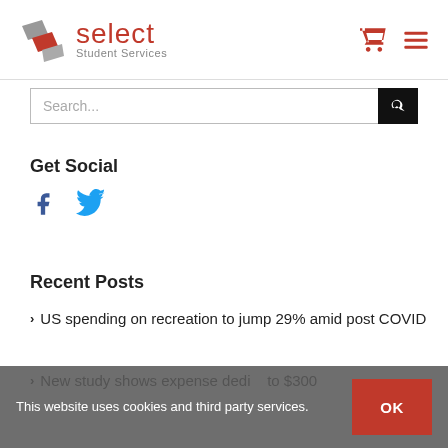[Figure (logo): Select Student Services logo with red and gray diagonal stripe icon and red 'select' text with gray 'Student Services' subtitle]
[Figure (screenshot): Search bar with placeholder text 'Search...' and black search button with magnifying glass icon]
Get Social
[Figure (other): Facebook and Twitter social media icons in blue]
Recent Posts
US spending on recreation to jump 29% amid post COVID
New study shows expense dedicated to $300
This website uses cookies and third party services.